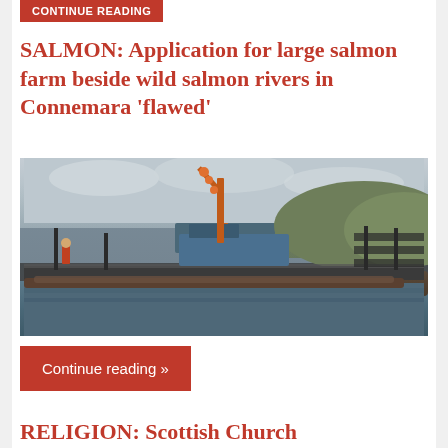Continue reading
SALMON: Application for large salmon farm beside wild salmon rivers in Connemara ‘flawed’
[Figure (photo): Photograph of an aquaculture salmon farm facility on water, showing metal walkways, a boat with an orange crane arm, netting cages in the water, with hills and overcast sky in the background. Workers visible on the structure.]
Continue reading »
RELIGION: Scottish Church